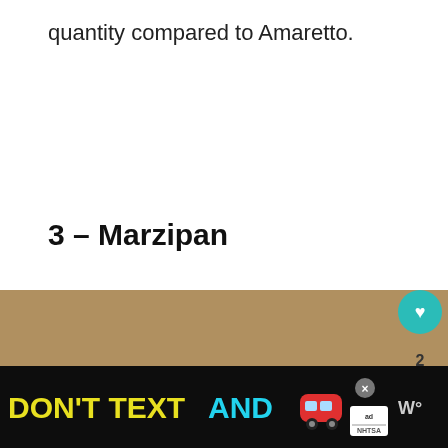quantity compared to Amaretto.
3 – Marzipan
[Figure (photo): A dark bowl filled with almonds on a wooden surface, with white marzipan pieces in the foreground. Blurred warm background.]
[Figure (infographic): Ad banner at bottom of page: 'DON'T TEXT AND' with a red car emoji, NHTSA ad badge, close button, and weather app icon]